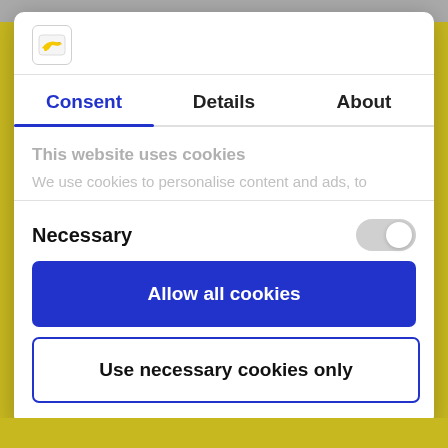[Figure (logo): Ryanair airplane logo icon in a small square box]
Consent | Details | About
This website uses cookies
We use cookies to personalise content and ads, to
Necessary
Allow all cookies
Use necessary cookies only
Powered by Cookiebot by Usercentrics